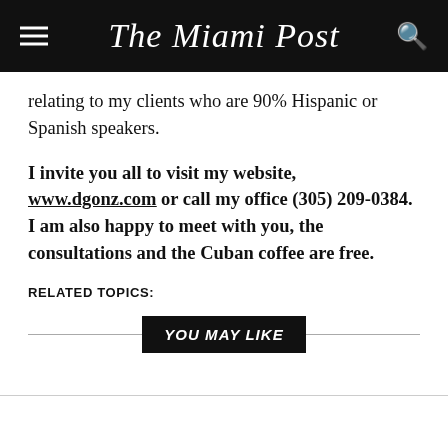The Miami Post
relating to my clients who are 90% Hispanic or Spanish speakers.
I invite you all to visit my website, www.dgonz.com or call my office (305) 209-0384. I am also happy to meet with you, the consultations and the Cuban coffee are free.
RELATED TOPICS:
YOU MAY LIKE